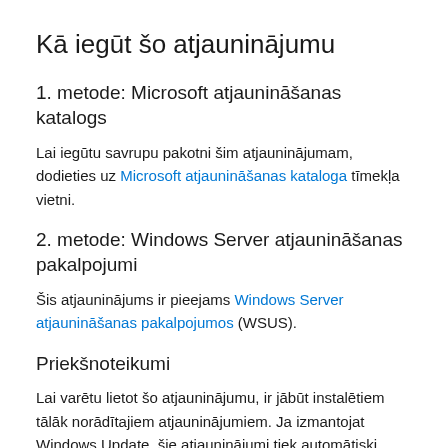Kā iegūt šo atjauninājumu
1. metode: Microsoft atjaunināšanas katalogs
Lai iegūtu savrupu pakotni šim atjauninājumam, dodieties uz Microsoft atjaunināšanas kataloga tīmekļa vietni.
2. metode: Windows Server atjaunināšanas pakalpojumi
Šis atjauninājums ir pieejams Windows Server atjaunināšanas pakalpojumos (WSUS).
Priekšnoteikumi
Lai varētu lietot šo atjauninājumu, ir jābūt instalētiem tālāk norādītajiem atjauninājumiem. Ja izmantojat Windows Update, šie atjauninājumi tiek automātiski piedāvāti pēc nepieciešamības.